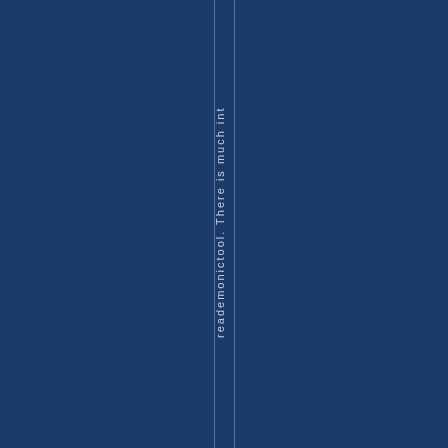[Figure (other): Dark navy blue background page with two thin vertical white/light lines near the center, and vertical text reading 'reademonictool. There is much int' rotated 90 degrees along the vertical strip between the lines.]